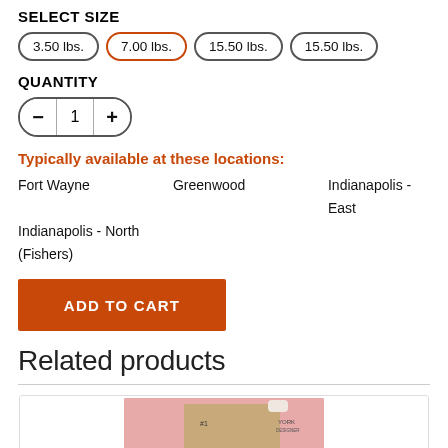SELECT SIZE
3.50 lbs.
7.00 lbs. (selected)
15.50 lbs.
15.50 lbs.
QUANTITY
1
Typically available at these locations:
Fort Wayne   Greenwood   Indianapolis - East   Indianapolis - North (Fishers)
ADD TO CART
Related products
[Figure (photo): Product image of a packaged item with pink and tan packaging]